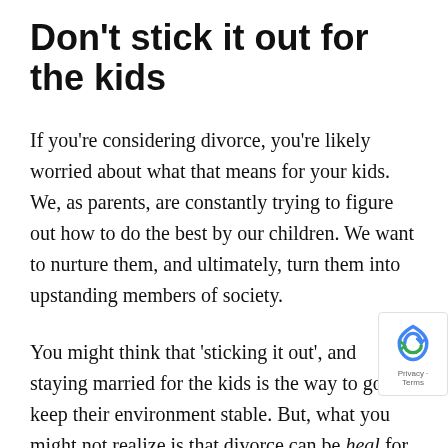Don't stick it out for the kids
If you're considering divorce, you're likely worried about what that means for your kids. We, as parents, are constantly trying to figure out how to do the best by our children. We want to nurture them, and ultimately, turn them into upstanding members of society.
You might think that 'sticking it out', and staying married for the kids is the way to go to keep their environment stable. But, what you might not realize is that divorce can be heal for your kids. This idea might seem counterintuitive, but we're going to explain to